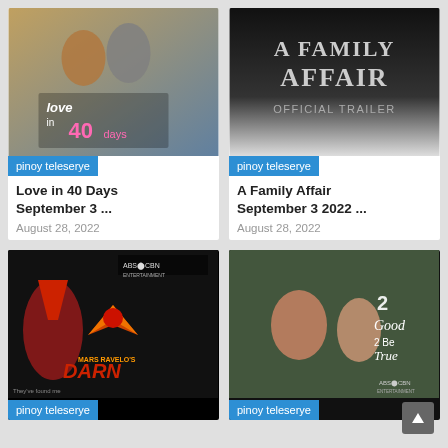[Figure (photo): Love in 40 Days show thumbnail - couple almost kissing with pink logo text]
pinoy teleserye
Love in 40 Days September 3 ...
August 28, 2022
[Figure (photo): A Family Affair Official Trailer thumbnail - black and white text on dark background]
pinoy teleserye
A Family Affair September 3 2022 ...
August 28, 2022
[Figure (photo): Mars Ravelo's Darna - ABS-CBN Entertainment thumbnail with red robot/warrior logo]
pinoy teleserye
[Figure (photo): 2 Good 2 Be True - ABS-CBN thumbnail with two people in car]
pinoy teleserye